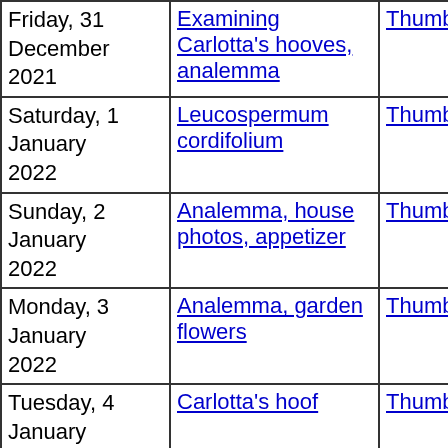| Date | Title | Thumbnails | Small photos | diary |
| --- | --- | --- | --- | --- |
| Friday, 31 December 2021 | Examining Carlotta's hooves, analemma | Thumbnails | Small photos | diary |
| Saturday, 1 January 2022 | Leucospermum cordifolium | Thumbnails | Small photos | diary |
| Sunday, 2 January 2022 | Analemma, house photos, appetizer | Thumbnails | Small photos | diary |
| Monday, 3 January 2022 | Analemma, garden flowers | Thumbnails | Small photos | diary |
| Tuesday, 4 January 2022 | Carlotta's hoof | Thumbnails | Small photos | diary |
| Wednesday, 5 January 2022 | Chili sauce solution, vegetables | Thumbnails | Small photos | diary |
| Thursday, 6 January 2022 | Dogs, braised kangkong | Thumbnails | Small photos | diary |
| Friday, 7 January 2022 | Braised kangkong, clematis | Thumbnails | Small photos | diary |